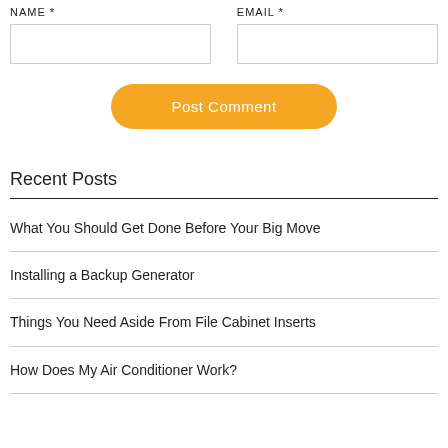NAME *
EMAIL *
Post Comment
Recent Posts
What You Should Get Done Before Your Big Move
Installing a Backup Generator
Things You Need Aside From File Cabinet Inserts
How Does My Air Conditioner Work?